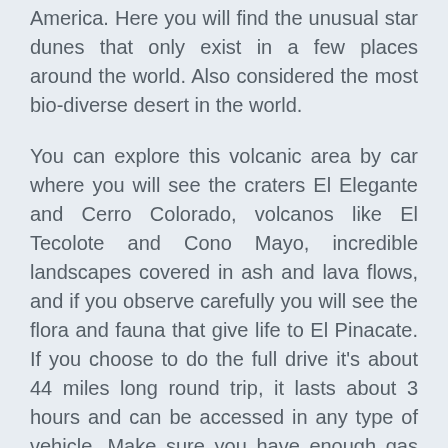America. Here you will find the unusual star dunes that only exist in a few places around the world. Also considered the most bio-diverse desert in the world.
You can explore this volcanic area by car where you will see the craters El Elegante and Cerro Colorado, volcanos like El Tecolote and Cono Mayo, incredible landscapes covered in ash and lava flows, and if you observe carefully you will see the flora and fauna that give life to El Pinacate. If you choose to do the full drive it's about 44 miles long round trip, it lasts about 3 hours and can be accessed in any type of vehicle. Make sure you have enough gas and water. The entry fee to the park is about 54.00 pesos (currently about $3.50 us).